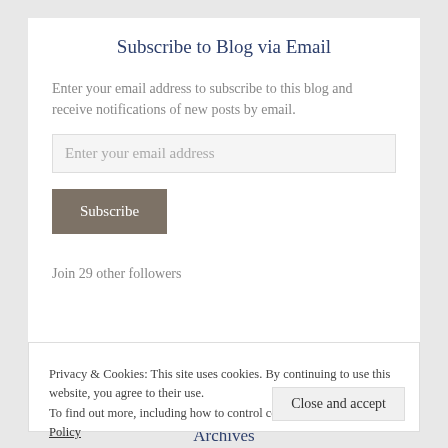Subscribe to Blog via Email
Enter your email address to subscribe to this blog and receive notifications of new posts by email.
Enter your email address
Subscribe
Join 29 other followers
Privacy & Cookies: This site uses cookies. By continuing to use this website, you agree to their use.
To find out more, including how to control cookies, see here: Cookie Policy
Close and accept
Archives